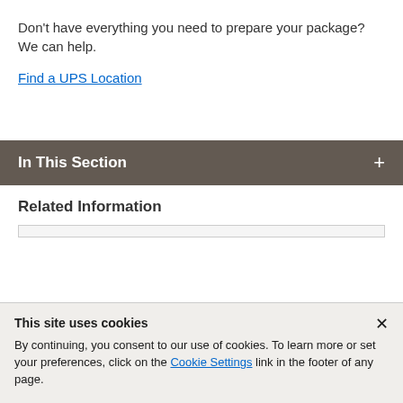Don't have everything you need to prepare your package? We can help.
Find a UPS Location
In This Section
Related Information
This site uses cookies
By continuing, you consent to our use of cookies. To learn more or set your preferences, click on the Cookie Settings link in the footer of any page.